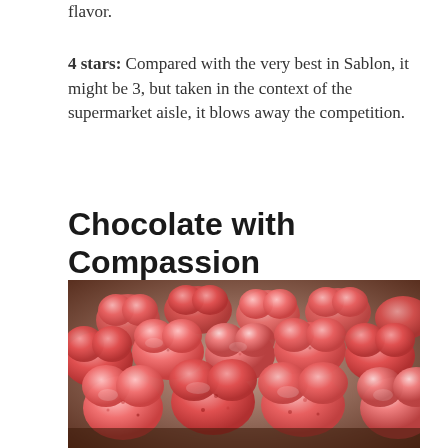flavor.
4 stars: Compared with the very best in Sablon, it might be 3, but taken in the context of the supermarket aisle, it blows away the competition.
Chocolate with Compassion
[Figure (photo): Close-up photograph of pink/red heart-shaped chocolates or candies arranged in a tray, showing speckled pink and red coloring.]